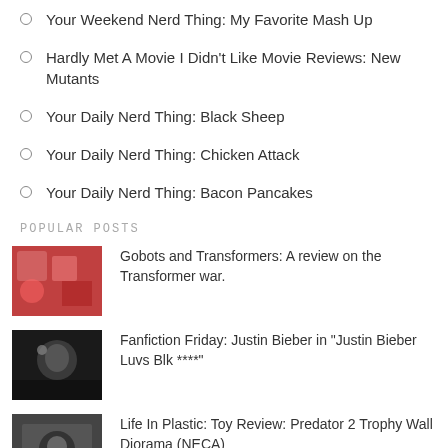Your Weekend Nerd Thing: My Favorite Mash Up
Hardly Met A Movie I Didn't Like Movie Reviews: New Mutants
Your Daily Nerd Thing: Black Sheep
Your Daily Nerd Thing: Chicken Attack
Your Daily Nerd Thing: Bacon Pancakes
POPULAR POSTS
Gobots and Transformers: A review on the Transformer war.
Fanfiction Friday: Justin Bieber in "Justin Bieber Luvs Blk ****"
Life In Plastic: Toy Review: Predator 2 Trophy Wall Diorama (NECA)
Life In Plastic: Toy Review: Warrior Xenomorph (NECA Aliens Series 1)
Who the Hell is: Jessica Jones?